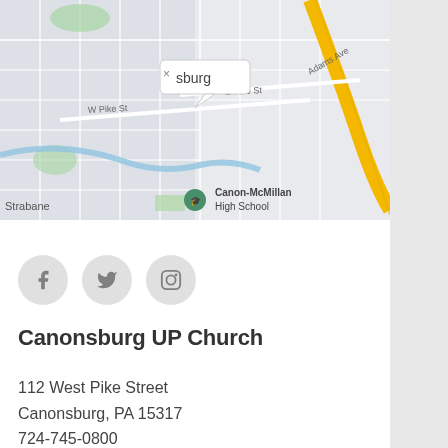[Figure (map): Google Maps screenshot showing Canonsburg, PA area with streets including W Pike St, E Pike St, Adams Ave, a yellow highway road on the right, Canon-McMillan High School marker, Strabane label on the left, and a tooltip popup near the top center showing 'sburg' with an X close button.]
[Figure (other): Three social media icon buttons in gray circles: Facebook (f), Twitter (bird), and Instagram (camera outline)]
Canonsburg UP Church
112 West Pike Street
Canonsburg, PA 15317
724-745-0800